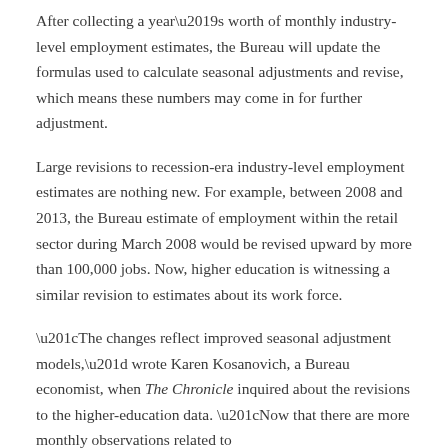After collecting a year's worth of monthly industry-level employment estimates, the Bureau will update the formulas used to calculate seasonal adjustments and revise, which means these numbers may come in for further adjustment.
Large revisions to recession-era industry-level employment estimates are nothing new. For example, between 2008 and 2013, the Bureau estimate of employment within the retail sector during March 2008 would be revised upward by more than 100,000 jobs. Now, higher education is witnessing a similar revision to estimates about its work force.
“The changes reflect improved seasonal adjustment models,” wrote Karen Kosanovich, a Bureau economist, when The Chronicle inquired about the revisions to the higher-education data. “Now that there are more monthly observations related to